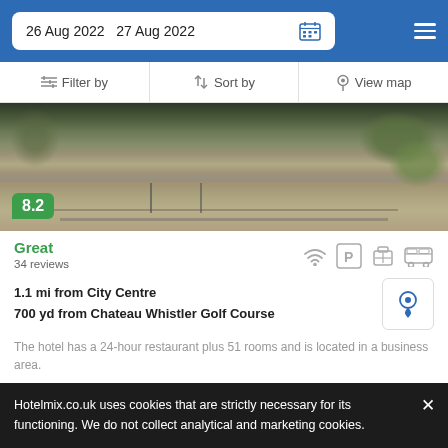26 Aug 2022  27 Aug 2022
Filter by   Sort by   View map
[Figure (photo): Exterior of a hotel showing stone steps, railing, and landscaping. Score badge showing 8.2 in green.]
Great
34 reviews
1.1 mi from City Centre
700 yd from Chateau Whistler Golf Course
The hotel has a 24-hour restaurant plus 51 rooms and is located in a business area.
from £ 229/night
SELECT
Hotelmix.co.uk uses cookies that are strictly necessary for its functioning. We do not collect analytical and marketing cookies.
dge By Whistler Vacation Club